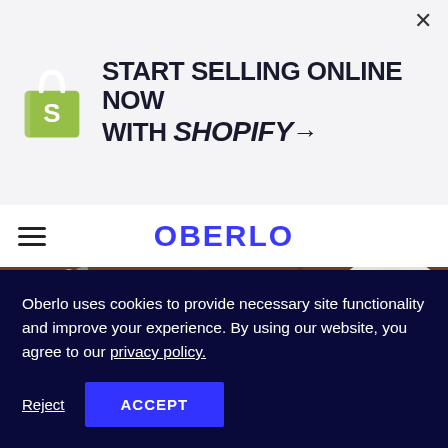[Figure (infographic): Shopify advertisement banner with Shopify bag logo on left, bold text 'START SELLING ONLINE NOW WITH SHOPIFY →', and an X close button on the right]
OBERLO
[Figure (photo): A smartphone showing the Facebook Messenger welcome screen ('Welcome to Messenger') with a blue Log In with Facebook button, placed on a wooden table next to a pen and a white coffee cup]
Oberlo uses cookies to provide necessary site functionality and improve your experience. By using our website, you agree to our privacy policy.
Reject   ACCEPT